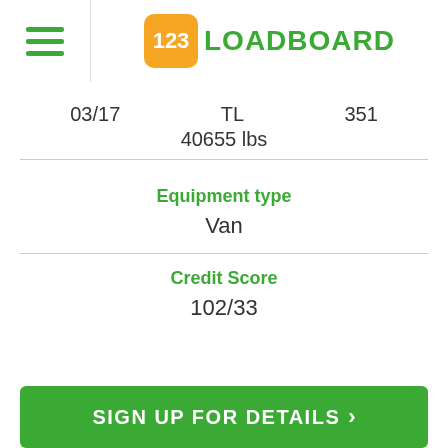123LOADBOARD
03/17   TL   351
40655 lbs
Equipment type
Van
Credit Score
102/33
SIGN UP FOR DETAILS >